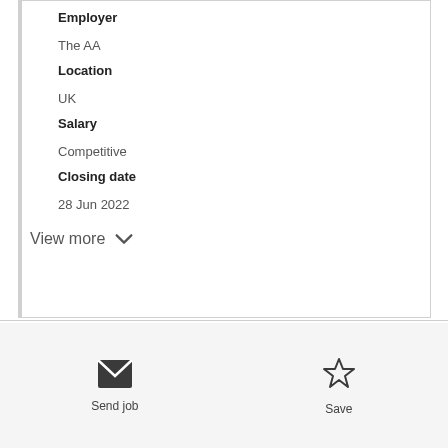Employer
The AA
Location
UK
Salary
Competitive
Closing date
28 Jun 2022
View more
Send job
Save